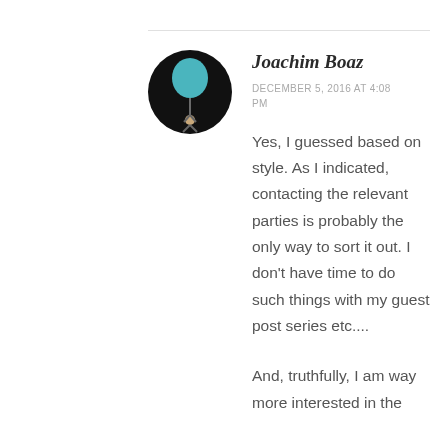Joachim Boaz
DECEMBER 5, 2016 AT 4:08 PM
Yes, I guessed based on style. As I indicated, contacting the relevant parties is probably the only way to sort it out. I don't have time to do such things with my guest post series etc....
And, truthfully, I am way more interested in the